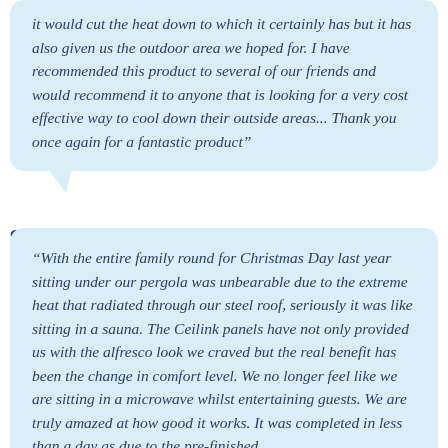it would cut the heat down to which it certainly has but it has also given us the outdoor area we hoped for. I have recommended this product to several of our friends and would recommend it to anyone that is looking for a very cost effective way to cool down their outside areas... Thank you once again for a fantastic product"
GARY AND ALISA SPRINGETT, NSW SOUTH COAST
“With the entire family round for Christmas Day last year sitting under our pergola was unbearable due to the extreme heat that radiated through our steel roof, seriously it was like sitting in a sauna. The Ceilink panels have not only provided us with the alfresco look we craved but the real benefit has been the change in comfort level. We no longer feel like we are sitting in a microwave whilst entertaining guests. We are truly amazed at how good it works. It was completed in less than a day as due to the pre-finished